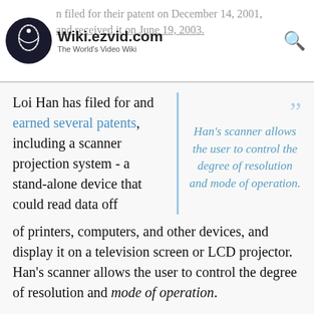Wiki.ezvid.com — The World's Video Wiki — n filed for their patent on December 14, 2001, and received it on June 19, 2003.
Loi Han has filed for and earned several patents, including a scanner projection system - a stand-alone device that could read data off of printers, computers, and other devices, and display it on a television screen or LCD projector. Han's scanner allows the user to control the degree of resolution and mode of operation.
Han's scanner allows the user to control the degree of resolution and mode of operation.
It's apparent that Han and Chen come from different backgrounds when you look at some of the